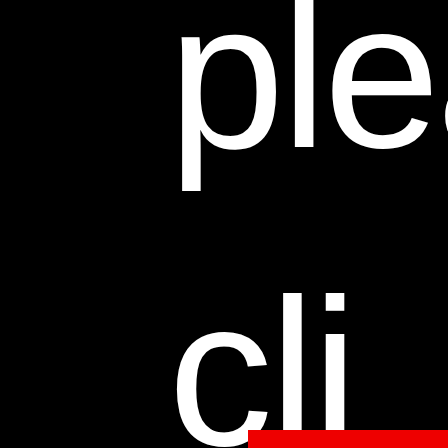plea
cli
[Figure (other): Small red bar in bottom-right corner]